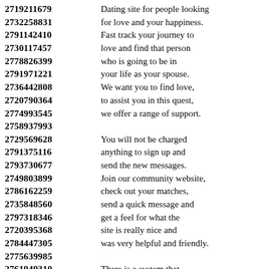2719211679  Dating site for people looking
2732258831  for love and your happiness.
2791142410  Fast track your journey to
2730117457  love and find that person
2778826399  who is going to be in
2791971221  your life as your spouse.
2736442808  We want you to find love,
2720790364  to assist you in this quest,
2774993545  we offer a range of support.
2758937993
2729569628  You will not be charged
2791375116  anything to sign up and
2793730677  send the new messages.
2749803899  Join our community website,
2786162259  check out your matches,
2735848560  send a quick message and
2797318346  get a feel for what the
2720395368  site is really nice and
2784447305  was very helpful and friendly.
2775639985
2761949310  There is a system that
2719882741  recommends to the members
2732238842  a checklist of women
2765151117  that you might like or give
2745355985  you more information about.